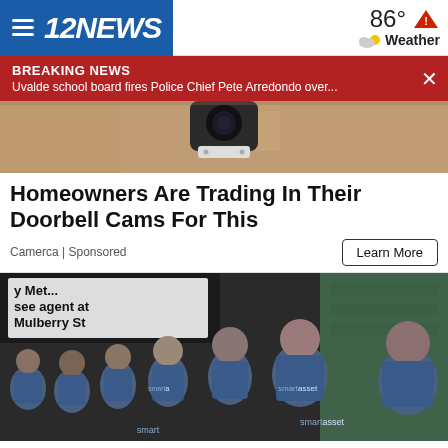12NEWS | 86° Weather
BREAKING NEWS
Uvalde school board fires Police Chief Pete Arredondo over...
[Figure (photo): Close-up photo of a doorbell camera mounted on a wall/ceiling]
Homeowners Are Trading In Their Doorbell Cams For This
Camerca | Sponsored
[Figure (photo): Group photo of people wearing blue SmartAsset t-shirts near a sign reading 'see agent at Mulberry St']